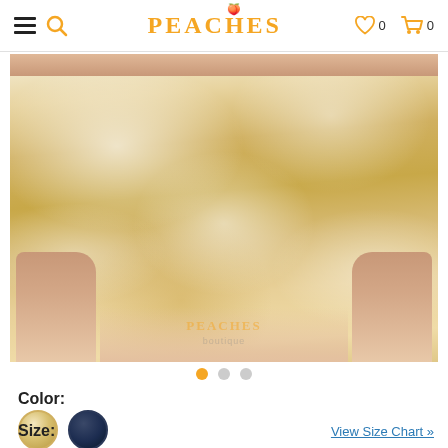PEACHES — navigation header with search, wishlist (0), and cart (0)
[Figure (photo): Model wearing a gold sequin mini skirt/dress, cropped to show torso and thighs on a white background. Watermark 'PEACHES' visible on image.]
Color:
Size:
View Size Chart »